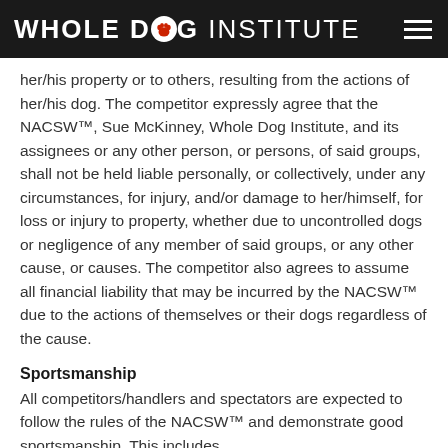WHOLE DOG INSTITUTE
her/his property or to others, resulting from the actions of her/his dog. The competitor expressly agree that the NACSW™, Sue McKinney, Whole Dog Institute, and its assignees or any other person, or persons, of said groups, shall not be held liable personally, or collectively, under any circumstances, for injury, and/or damage to her/himself, for loss or injury to property, whether due to uncontrolled dogs or negligence of any member of said groups, or any other cause, or causes. The competitor also agrees to assume all financial liability that may be incurred by the NACSW™ due to the actions of themselves or their dogs regardless of the cause.
Sportsmanship
All competitors/handlers and spectators are expected to follow the rules of the NACSW™ and demonstrate good sportsmanship. This includes